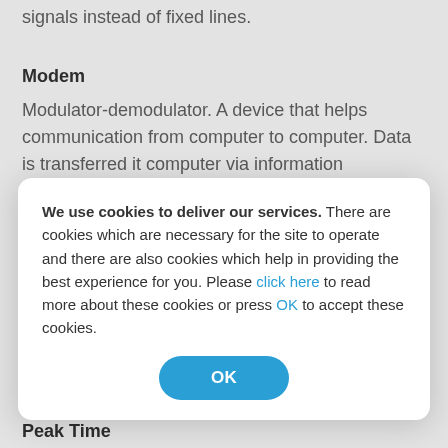Internet access acquired through mobile network signals instead of fixed lines.
Modem
Modulator-demodulator. A device that helps communication from computer to computer. Data is transferred it computer via information...
We use cookies to deliver our services. There are cookies which are necessary for the site to operate and there are also cookies which help in providing the best experience for you. Please click here to read more about these cookies or press OK to accept these cookies.
Peak Time